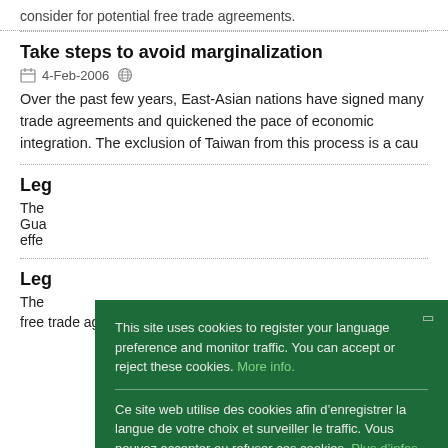consider for potential free trade agreements.
Take steps to avoid marginalization
4-Feb-2006
Over the past few years, East-Asian nations have signed many trade agreements and quickened the pace of economic integration. The exclusion of Taiwan from this process is a cause for concern.
Leg... agr...
The... Gua... effe...
Leg...
The... free trade agreement (FTA), which will take effect this Jan. 1
This site uses cookies to register your language preference and monitor traffic. You can accept or reject these cookies. More info.
Ce site web utilise des cookies afin d’enregistrer la langue de votre choix et surveiller le traffic. Vous pouvez accepter ou refuser ces cookies. Plus d’infos.
Este sitio web utiliza cookies con el objetivo de registrar su idioma preferido y controlar el tráfico. Puede aceptar o rechazar estas cookies. Mayor información.
Ok